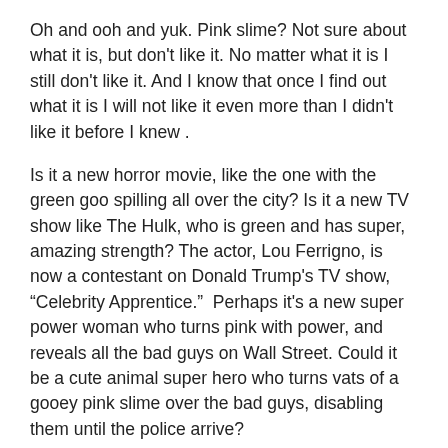Oh and ooh and yuk. Pink slime? Not sure about what it is, but don't like it. No matter what it is I still don't like it. And I know that once I find out what it is I will not like it even more than I didn't like it before I knew .
Is it a new horror movie, like the one with the green goo spilling all over the city? Is it a new TV show like The Hulk, who is green and has super, amazing strength? The actor, Lou Ferrigno, is now a contestant on Donald Trump's TV show, “Celebrity Apprentice.”  Perhaps it's a new super power woman who turns pink with power, and reveals all the bad guys on Wall Street. Could it be a cute animal super hero who turns vats of a gooey pink slime over the bad guys, disabling them until the police arrive?
But pink slime is worse than that. It is an additive that manufacturers add to ground beef. You know, ground beef